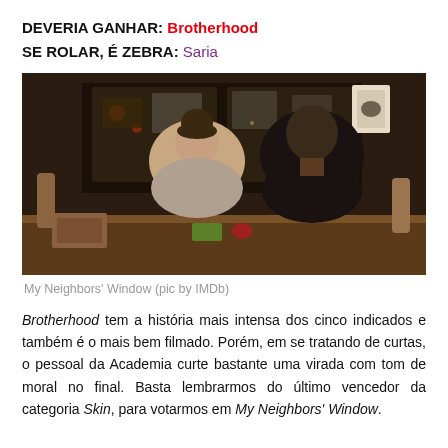DEVERIA GANHAR: Brotherhood
SE ROLAR, É ZEBRA: Saria
[Figure (photo): Two people seen from behind sitting at a table in a dimly lit room with a window showing city lights at night. The woman on the left has her hair in a bun and wears a light top; the man on the right wears a dark t-shirt. Scene from the short film My Neighbors' Window.]
My Neighbors' Window (pic by IMDb)
Brotherhood tem a história mais intensa dos cinco indicados e também é o mais bem filmado. Porém, em se tratando de curtas, o pessoal da Academia curte bastante uma virada com tom de moral no final. Basta lembrarmos do último vencedor da categoria Skin, para votarmos em My Neighbors' Window.